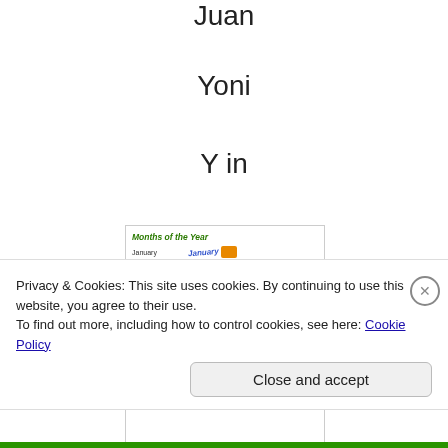Juan
Yoni
Y in
[Figure (illustration): Months of the Year educational chart showing month names in plain text on the left and stylized/colored text labels on the right, with small icons for some months. Months listed: January, February, March, April, May, June, July, August, September, October, November.]
Privacy & Cookies: This site uses cookies. By continuing to use this website, you agree to their use.
To find out more, including how to control cookies, see here: Cookie Policy
Close and accept